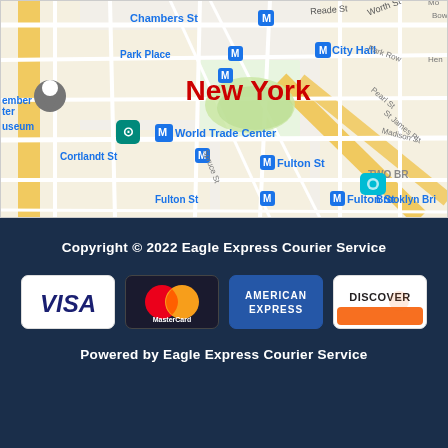[Figure (map): Google Maps view of lower Manhattan, New York City, showing subway stations (Chambers St, Park Place, City Hall, World Trade Center, Cortlandt St, Fulton St), streets, and Brooklyn Bridge area. 'New York' label in red. Location pin and camera icon visible.]
Copyright © 2022 Eagle Express Courier Service
[Figure (infographic): Payment method logos: VISA, MasterCard, American Express, Discover]
Powered by Eagle Express Courier Service